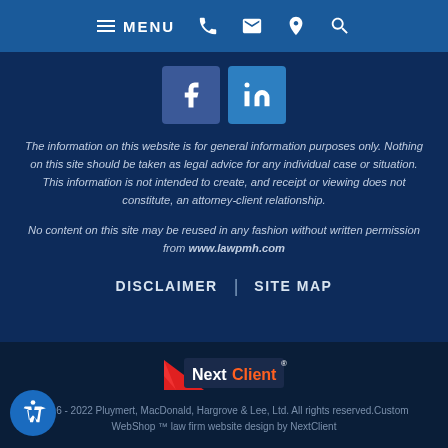MENU [navigation icons]
[Figure (logo): Facebook and LinkedIn social media icons]
The information on this website is for general information purposes only. Nothing on this site should be taken as legal advice for any individual case or situation. This information is not intended to create, and receipt or viewing does not constitute, an attorney-client relationship.
No content on this site may be reused in any fashion without written permission from www.lawpmh.com
DISCLAIMER | SITE MAP
[Figure (logo): NextClient logo with red triangle and white/orange text]
2016 - 2022 Pluymert, MacDonald, Hargrove & Lee, Ltd. All rights reserved.Custom WebShop ™ law firm website design by NextClient